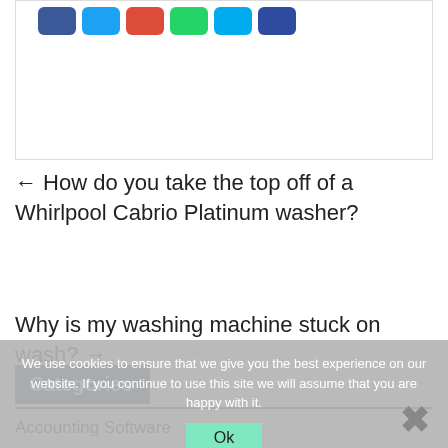[Figure (other): Social share buttons row: Facebook (blue), Twitter (light blue), Google+ (red), WhatsApp (green), another blue button, dark blue button]
← How do you take the top off of a Whirlpool Cabrio Platinum washer?
Why is my washing machine stuck on wash? →
Categories
Accounting Software
We use cookies to ensure that we give you the best experience on our website. If you continue to use this site we will assume that you are happy with it.